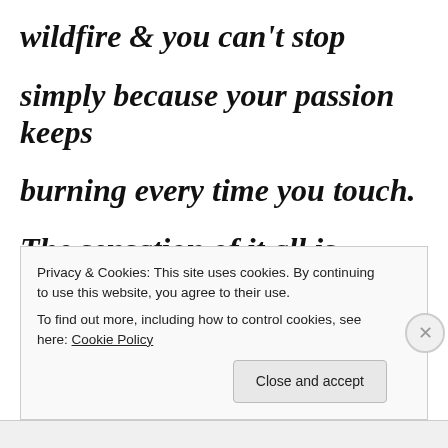wildfire & you can't stop
simply because your passion keeps
burning every time you touch.
The sensation of it all is beyond that
which is real. it comes
Privacy & Cookies: This site uses cookies. By continuing to use this website, you agree to their use.
To find out more, including how to control cookies, see here: Cookie Policy